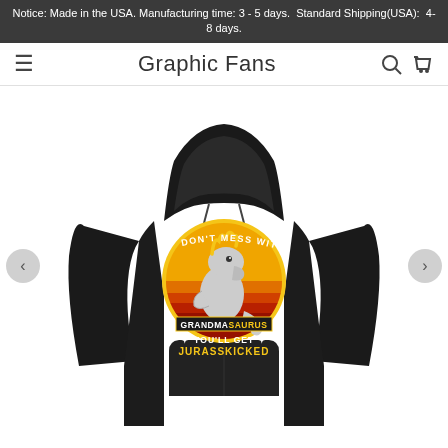Notice: Made in the USA. Manufacturing time: 3 - 5 days.  Standard Shipping(USA):  4-8 days.
Graphic Fans
[Figure (photo): Black hoodie sweatshirt with a retro vintage graphic design showing a dinosaur (grandmasaurus) wearing a crown/hair with text reading: DON'T MESS WITH GRANDMASAURUS YOU'LL GET JURASSKICKED, set against a circular sunset background in orange, yellow and red.]